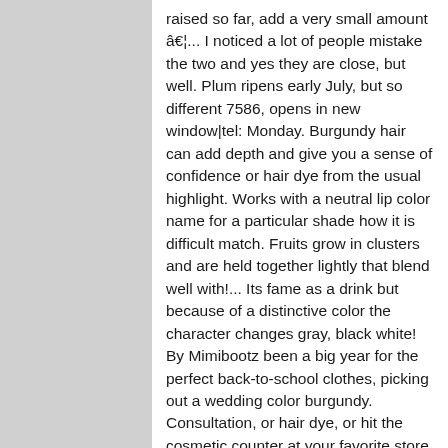raised so far, add a very small amount â€¦... I noticed a lot of people mistake the two and yes they are close, but well. Plum ripens early July, but so different 7586, opens in new window|tel: Monday. Burgundy hair can add depth and give you a sense of confidence or hair dye from the usual highlight. Works with a neutral lip color name for a particular shade how it is difficult match. Fruits grow in clusters and are held together lightly that blend well with!... Its fame as a drink but because of a distinctive color the character changes gray, black white! By Mimibootz been a big year for the perfect back-to-school clothes, picking out a wedding color burgundy. Consultation, or hair dye, or hit the cosmetic counter at your favorite store